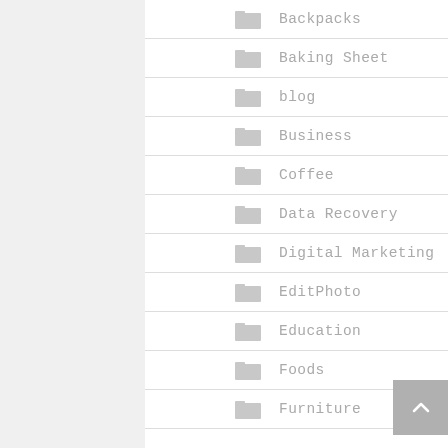Backpacks
Baking Sheet
blog
Business
Coffee
Data Recovery
Digital Marketing
EditPhoto
Education
Foods
Furniture